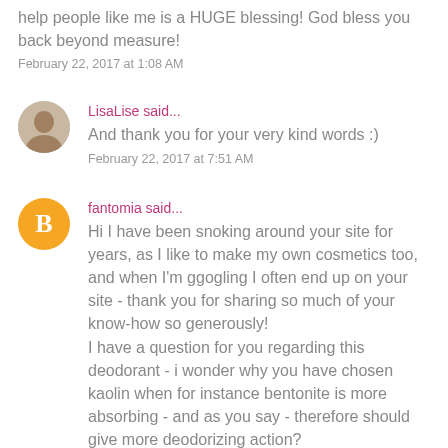help people like me is a HUGE blessing! God bless you back beyond measure!
February 22, 2017 at 1:08 AM
LisaLise said...
And thank you for your very kind words :)
February 22, 2017 at 7:51 AM
fantomia said...
Hi I have been snoking around your site for years, as I like to make my own cosmetics too, and when I'm ggogling I often end up on your site - thank you for sharing so much of your know-how so generously!
I have a question for you regarding this deodorant - i wonder why you have chosen kaolin when for instance bentonite is more absorbing - and as you say - therefore should give more deodorizing action?
February 24, 2017 at 11:52 PM